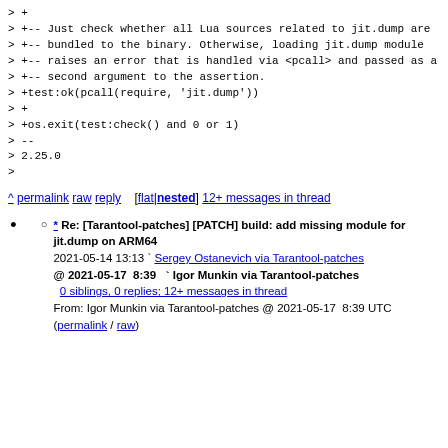> +
> +-- Just check whether all Lua sources related to jit.dump are
> +-- bundled to the binary. Otherwise, loading jit.dump module
> +-- raises an error that is handled via <pcall> and passed as a
> +-- second argument to the assertion.
> +test:ok(pcall(require, 'jit.dump'))
> +
> +os.exit(test:check() and 0 or 1)
> --
> 2.25.0
>
^ permalink raw reply [flat|nested] 12+ messages in thread
* Re: [Tarantool-patches] [PATCH] build: add missing module for jit.dump on ARM64
2021-05-14 13:13 ` Sergey Ostanevich via Tarantool-patches
@ 2021-05-17 8:39 ` Igor Munkin via Tarantool-patches
0 siblings, 0 replies; 12+ messages in thread
From: Igor Munkin via Tarantool-patches @ 2021-05-17 8:39 UTC (permalink / raw)